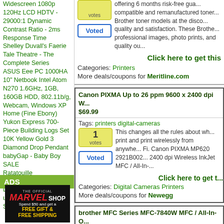Widescreen 1080p 120Hz LCD HDTV - 29000:1 Dynamic Contrast Ratio - 2ms Response Time
Shelley Duvall's Faerie Tale Theatre - The Complete Series
ASUS Eee PC 1000HA 10" Netbook Intel Atom N270 1.6GHz, 1GB, 160GB HDD, 802.11b/g, Webcam, Windows XP Home (Fine Ebony)
Yukon Express 700-Piece Building Logs Set
10K Yellow Gold 3 Diamond Drop Pendant
babyGap - Baby Boy SALE
Ratatouille
Samsonite Urbanite Laptop Backpack (Fits up to 17" Laptops) - Top Seller!
ADS
[Figure (illustration): Marvel Shop advertisement - THE OFFICIAL MARVEL SHOP, Spend $50 and get a FREE GIFT & FREE SHIPPING, with Marvel superhero characters]
offering 6 months risk-free gua... compatible and remanufactured toner... Brother toner models at the disco... quality and satisfaction. These Brothe... professional images, photo prints, and quality ou...
Click here to get this
Categories: Printers
More deals/coupons for Meritline.com
Canon PIXMA Up to 26 ppm 9600 x 2400 dpi W... $69.99
Tags: printers digital-cameras
This changes all the rules about wh... print and print wirelessly from anywhe... Fi. Canon PIXMA MP620 2921B002... 2400 dpi Wireless InkJet MFC / All-In-...
Click here to get t...
Categories: Digital Cameras Printers
More deals/coupons for Newegg
brother MFC Series MFC-7840W MFC / All-In-O... Printer for $199.99
Tags: printers